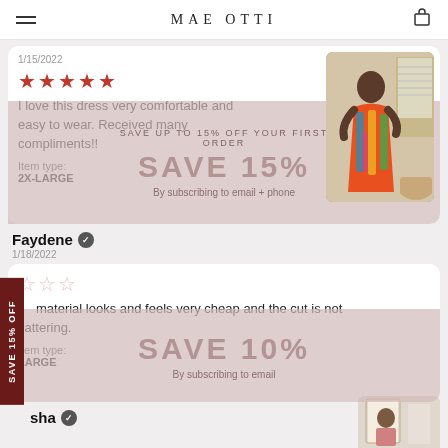MAE OTTI
1/15/2022
[Figure (illustration): Five red filled stars rating]
I love this dress very comfortable and easy to wear. Received many compliments!!
Item type: 2X-LARGE
[Figure (photo): Woman wearing colorful African print dress standing in a hallway]
SAVE UP TO 15% OFF YOUR FIRST ORDER — SAVE 15% — By subscribing to email + phone
Faydene ✔
1/18/2022
[Figure (illustration): Three empty/outline stars rating]
material looks and feels very cheap and the cut is not flattering.
Item type: LARGE
SAVE 10% — By subscribing to email
sha ✔